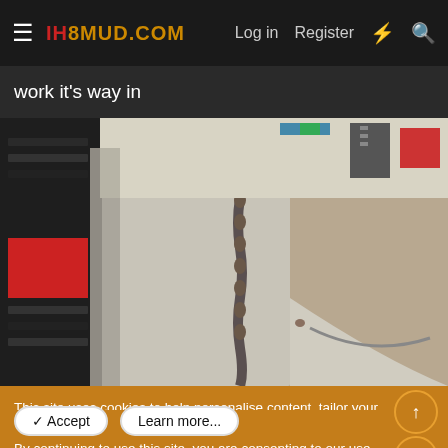IH8MUD.COM  Log in  Register
work it's way in
[Figure (photo): Close-up photo of a welded metal automotive body panel or frame component in a garage workshop setting, showing weld beads along a seam. Tool chests and shop equipment visible in the background.]
This site uses cookies to help personalise content, tailor your experience and to keep you logged in if you register.
By continuing to use this site, you are consenting to our use of cookies.
✓ Accept   Learn more...